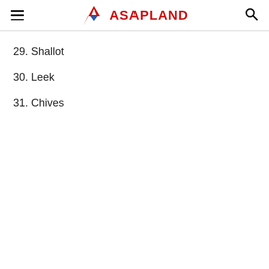ASAPLAND
29. Shallot
30. Leek
31. Chives